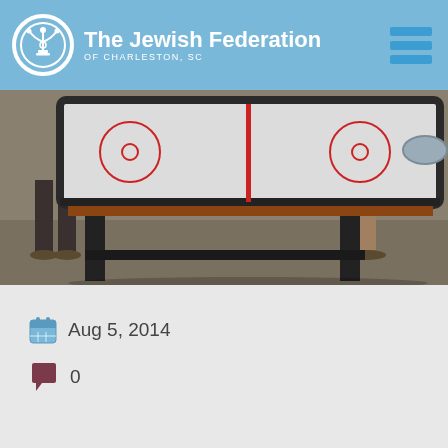The Jewish Federation OF CHARLESTON, SC
[Figure (photo): An air hockey table viewed from the side, with two people standing at each end. The table has a white surface with red markings and a dark wood/black frame.]
Aug 5, 2014
0